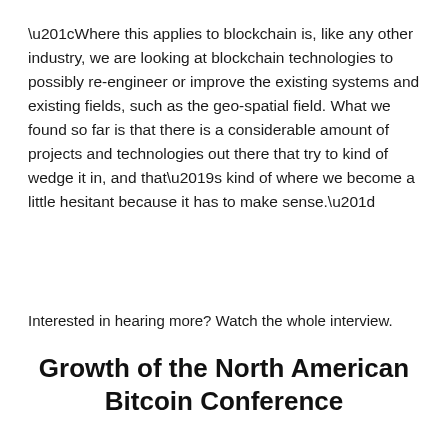“Where this applies to blockchain is, like any other industry, we are looking at blockchain technologies to possibly re-engineer or improve the existing systems and existing fields, such as the geo-spatial field. What we found so far is that there is a considerable amount of projects and technologies out there that try to kind of wedge it in, and that’s kind of where we become a little hesitant because it has to make sense.”
Interested in hearing more? Watch the whole interview.
Growth of the North American Bitcoin Conference